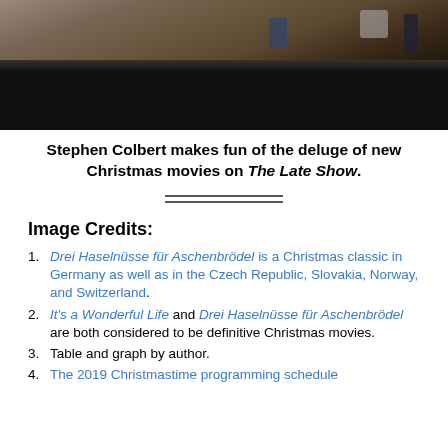[Figure (photo): A dark photograph showing what appears to be a TV show set or bar counter area with equipment in the background, partially visible at the top of the page.]
Stephen Colbert makes fun of the deluge of new Christmas movies on The Late Show.
Image Credits:
1. Drei Haselnüsse für Aschenbrödel is a Christmas classic in Germany as well as in the Czech Republic, Slovakia, Norway, and Switzerland.
2. It's a Wonderful Life and Drei Haselnüsse für Aschenbrödel are both considered to be definitive Christmas movies.
3. Table and graph by author.
4. The 2019 Christmastime programming schedule